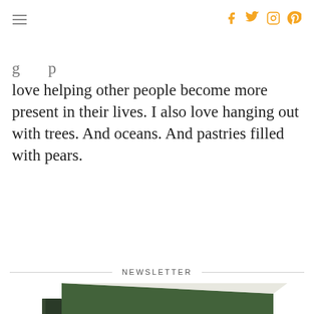love helping other people become more present in their lives. I also love hanging out with trees. And oceans. And pastries filled with pears.
NEWSLETTER
[Figure (photo): A 3D book mockup with a cover photo showing a person lying on green grass wearing a striped shirt, arms outstretched, viewed from above.]